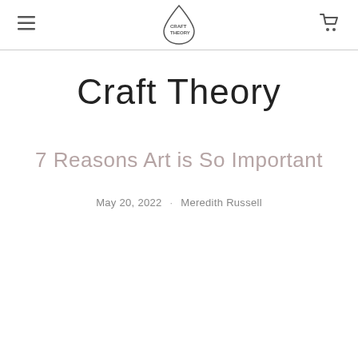Craft Theory
Craft Theory
7 Reasons Art is So Important
May 20, 2022 · Meredith Russell